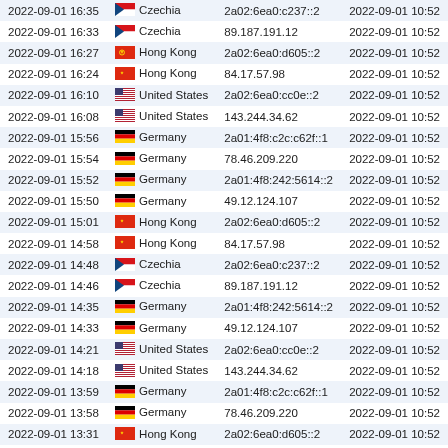| Date/Time | Country | IP Address | Last |
| --- | --- | --- | --- |
| 2022-09-01 16:35 | Czechia | 2a02:6ea0:c237::2 | 2022-09-01 10:52 |
| 2022-09-01 16:33 | Czechia | 89.187.191.12 | 2022-09-01 10:52 |
| 2022-09-01 16:27 | Hong Kong | 2a02:6ea0:d605::2 | 2022-09-01 10:52 |
| 2022-09-01 16:24 | Hong Kong | 84.17.57.98 | 2022-09-01 10:52 |
| 2022-09-01 16:10 | United States | 2a02:6ea0:cc0e::2 | 2022-09-01 10:52 |
| 2022-09-01 16:08 | United States | 143.244.34.62 | 2022-09-01 10:52 |
| 2022-09-01 15:56 | Germany | 2a01:4f8:c2c:c62f::1 | 2022-09-01 10:52 |
| 2022-09-01 15:54 | Germany | 78.46.209.220 | 2022-09-01 10:52 |
| 2022-09-01 15:52 | Germany | 2a01:4f8:242:5614::2 | 2022-09-01 10:52 |
| 2022-09-01 15:50 | Germany | 49.12.124.107 | 2022-09-01 10:52 |
| 2022-09-01 15:01 | Hong Kong | 2a02:6ea0:d605::2 | 2022-09-01 10:52 |
| 2022-09-01 14:58 | Hong Kong | 84.17.57.98 | 2022-09-01 10:52 |
| 2022-09-01 14:48 | Czechia | 2a02:6ea0:c237::2 | 2022-09-01 10:52 |
| 2022-09-01 14:46 | Czechia | 89.187.191.12 | 2022-09-01 10:52 |
| 2022-09-01 14:35 | Germany | 2a01:4f8:242:5614::2 | 2022-09-01 10:52 |
| 2022-09-01 14:33 | Germany | 49.12.124.107 | 2022-09-01 10:52 |
| 2022-09-01 14:21 | United States | 2a02:6ea0:cc0e::2 | 2022-09-01 10:52 |
| 2022-09-01 14:18 | United States | 143.244.34.62 | 2022-09-01 10:52 |
| 2022-09-01 13:59 | Germany | 2a01:4f8:c2c:c62f::1 | 2022-09-01 10:52 |
| 2022-09-01 13:58 | Germany | 78.46.209.220 | 2022-09-01 10:52 |
| 2022-09-01 13:31 | Hong Kong | 2a02:6ea0:d605::2 | 2022-09-01 10:52 |